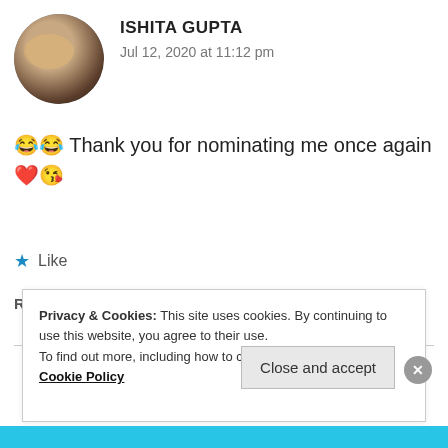[Figure (photo): Circular avatar photo of Ishita Gupta]
ISHITA GUPTA
Jul 12, 2020 at 11:12 pm
😂😂 Thank you for nominating me once again ❤️😘
★ Like
REPLY
Privacy & Cookies: This site uses cookies. By continuing to use this website, you agree to their use.
To find out more, including how to control cookies, see here: Cookie Policy
Close and accept